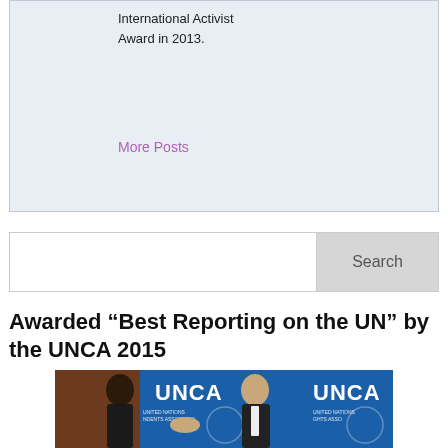International Activist Award in 2013.
More Posts
Search
Awarded “Best Reporting on the UN” by the UNCA 2015
[Figure (photo): Two people shaking hands in front of UNCA (United Nations Correspondents Association) banner. A woman in black dress and a man in tuxedo at an awards ceremony.]